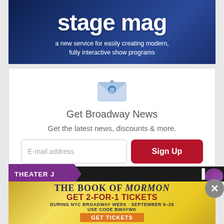[Figure (illustration): Stage Mag advertisement banner with dark blue background showing a performer, large white text 'stage mag' and subtitle 'a new service for easily creating modern, fully interactive show programs']
Get Broadway News
Get the latest news, discounts & more.
[Figure (illustration): Email subscription form with email input field placeholder 'E-mail address' and red 'Sign Up' button]
[Figure (illustration): Theater J advertisement banner with purple label on black background and close X button]
[Figure (illustration): The Book of Mormon advertisement: 'THE BOOK OF MORMON GET 2-FOR-1 TICKETS DURING NYC BROADWAY WEEK · SEPTEMBER 6-25 USE CODE BWAYWK GET TICKETS' on gold spiky starburst background]